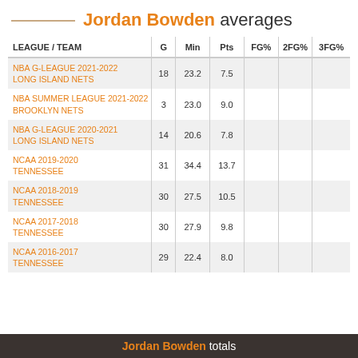Jordan Bowden averages
| LEAGUE / TEAM | G | Min | Pts | FG% | 2FG% | 3FG% |
| --- | --- | --- | --- | --- | --- | --- |
| NBA G-LEAGUE 2021-2022
LONG ISLAND NETS | 18 | 23.2 | 7.5 |  |  |  |
| NBA SUMMER LEAGUE 2021-2022
BROOKLYN NETS | 3 | 23.0 | 9.0 |  |  |  |
| NBA G-LEAGUE 2020-2021
LONG ISLAND NETS | 14 | 20.6 | 7.8 |  |  |  |
| NCAA 2019-2020
TENNESSEE | 31 | 34.4 | 13.7 |  |  |  |
| NCAA 2018-2019
TENNESSEE | 30 | 27.5 | 10.5 |  |  |  |
| NCAA 2017-2018
TENNESSEE | 30 | 27.9 | 9.8 |  |  |  |
| NCAA 2016-2017
TENNESSEE | 29 | 22.4 | 8.0 |  |  |  |
Jordan Bowden totals